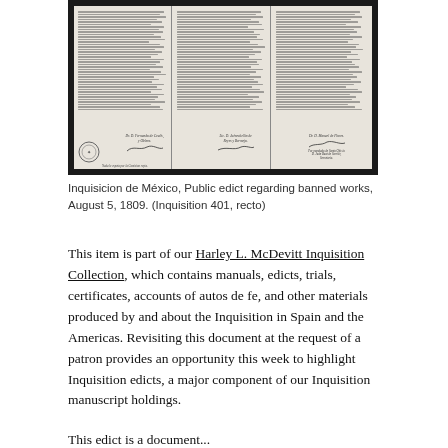[Figure (photo): Scanned historical document — Inquisicion de México public edict, August 5, 1809, showing handwritten text in columns with signatures and an official seal at the bottom left.]
Inquisicion de México, Public edict regarding banned works, August 5, 1809. (Inquisition 401, recto)
This item is part of our Harley L. McDevitt Inquisition Collection, which contains manuals, edicts, trials, certificates, accounts of autos de fe, and other materials produced by and about the Inquisition in Spain and the Americas. Revisiting this document at the request of a patron provides an opportunity this week to highlight Inquisition edicts, a major component of our Inquisition manuscript holdings.
This edict is a document...